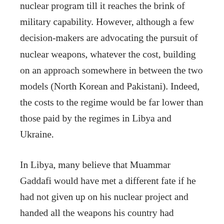nuclear program till it reaches the brink of military capability. However, although a few decision-makers are advocating the pursuit of nuclear weapons, whatever the cost, building on an approach somewhere in between the two models (North Korean and Pakistani). Indeed, the costs to the regime would be far lower than those paid by the regimes in Libya and Ukraine.
In Libya, many believe that Muammar Gaddafi would have met a different fate if he had not given up on his nuclear project and handed all the weapons his country had developed over to the United Nations after the fall of Saddam Hussein’s regime. The war in Ukraine has left Iranian political elites asking themselves whether Moscow would have occupied Ukraine at all if the latter had kept its nuclear weapons? Regardless of their